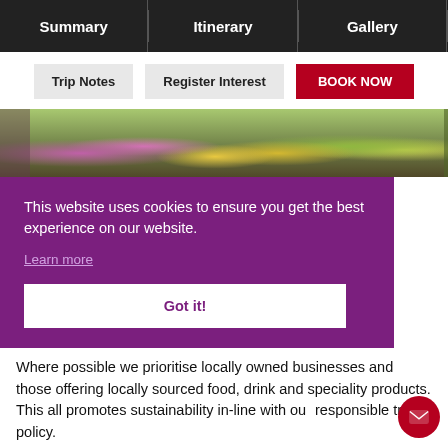Summary | Itinerary | Gallery
Trip Notes | Register Interest | BOOK NOW
[Figure (photo): Garden photo with flowers and outdoor seating]
This website uses cookies to ensure you get the best experience on our website.
Learn more
Got it!
Where possible we prioritise locally owned businesses and those offering locally sourced food, drink and speciality products. This all promotes sustainability in-line with our responsible travel policy.